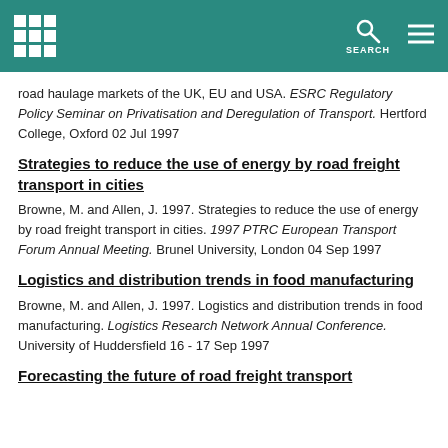road haulage markets of the UK, EU and USA. ESRC Regulatory Policy Seminar on Privatisation and Deregulation of Transport. Hertford College, Oxford 02 Jul 1997
Strategies to reduce the use of energy by road freight transport in cities
Browne, M. and Allen, J. 1997. Strategies to reduce the use of energy by road freight transport in cities. 1997 PTRC European Transport Forum Annual Meeting. Brunel University, London 04 Sep 1997
Logistics and distribution trends in food manufacturing
Browne, M. and Allen, J. 1997. Logistics and distribution trends in food manufacturing. Logistics Research Network Annual Conference. University of Huddersfield 16 - 17 Sep 1997
Forecasting the future of road freight transport